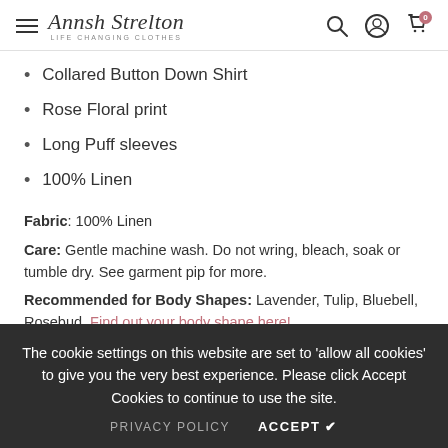Annsh Strelton — LIFE CHANGING CLOTHES
Collared Button Down Shirt
Rose Floral print
Long Puff sleeves
100% Linen
Fabric: 100% Linen
Care: Gentle machine wash. Do not wring, bleach, soak or tumble dry. See garment pip for more.
Recommended for Body Shapes: Lavender, Tulip, Bluebell, Rosebud. Find out your body shape here!
The cookie settings on this website are set to 'allow all cookies' to give you the very best experience. Please click Accept Cookies to continue to use the site.
PRIVACY POLICY   ACCEPT ✔